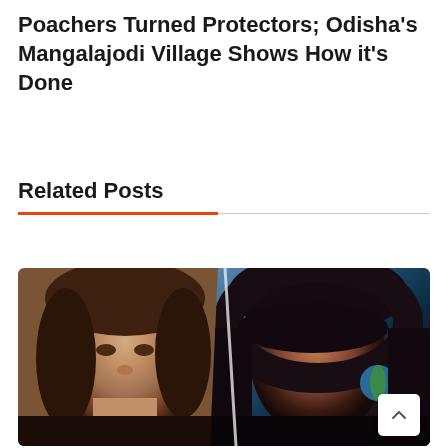Poachers Turned Protectors; Odisha's Mangalajodi Village Shows How it's Done
Related Posts
[Figure (photo): A composite photo of two young women. On the left, a young white woman with light brown hair pulled back, looking seriously at the camera with hands clasped under her chin. On the right, a young South Asian woman with dark hair and bangs, with a globe/earth face paint on her cheek, looking towards the camera against a blurred outdoor background.]